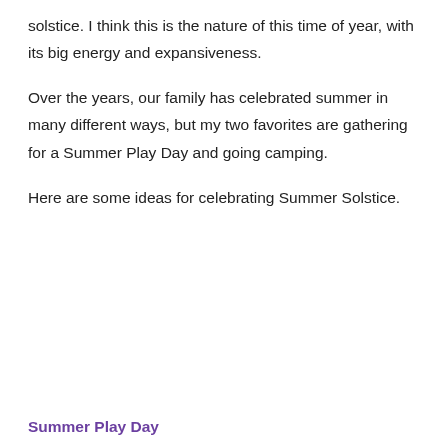solstice. I think this is the nature of this time of year, with its big energy and expansiveness.
Over the years, our family has celebrated summer in many different ways, but my two favorites are gathering for a Summer Play Day and going camping.
Here are some ideas for celebrating Summer Solstice.
Summer Play Day